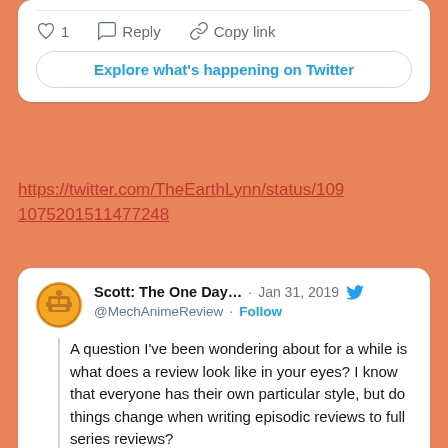[Figure (screenshot): Top portion of a Twitter embed card showing action buttons: heart icon with count 1, Reply button, Copy link button, and an Explore what's happening on Twitter button]
https://twitter.com/TheEarthLynn/status/1091075201511477248
[Figure (screenshot): Embedded tweet from Scott: The One Day... (@MechAnimeReview) dated Jan 31, 2019. Avatar is an orange circle with a mech/robot face illustration. Tweet text: A question I've been wondering about for a while is what does a review look like in your eyes? I know that everyone has their own particular style, but do things change when writing episodic reviews to full series reviews? Reviews made like episode synopsis put me off a bit...]